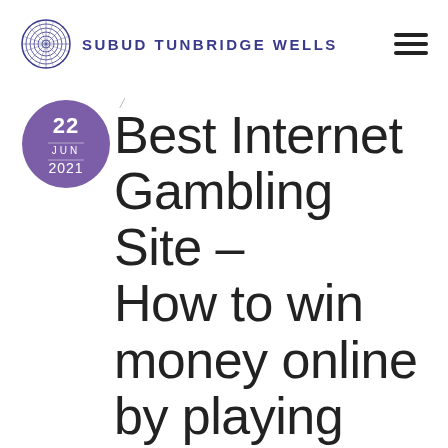SUBUD TUNBRIDGE WELLS
[Figure (illustration): Purple circular date badge showing '22 JUN 2021']
Best Internet Gambling Site – How to win money online by playing slots